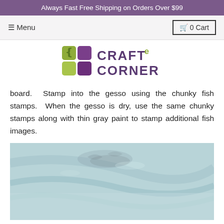Always Fast Free Shipping on Orders Over $99
[Figure (logo): Craft e Corner logo with purple and green squares and stylized text]
board.  Stamp into the gesso using the chunky fish stamps.  When the gesso is dry, use the same chunky stamps along with thin gray paint to stamp additional fish images.
[Figure (photo): Close-up photo of a light blue/aqua textured board with faint fish stamp impressions visible]